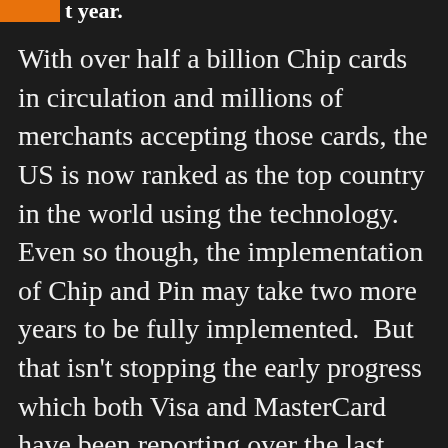t year.
With over half a billion Chip cards in circulation and millions of merchants accepting those cards, the US is now ranked as the top country in the world using the technology.  Even so though, the implementation of Chip and Pin may take two more years to be fully implemented.  But that isn't stopping the early progress which both Visa and MasterCard have been reporting over the last month.